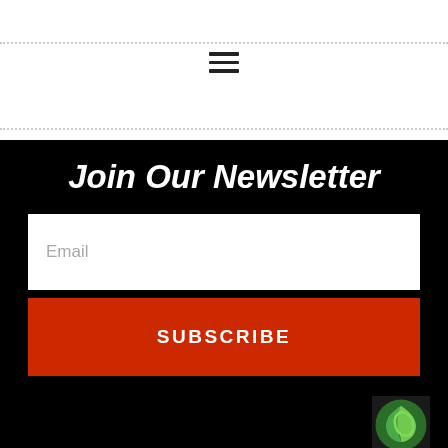☰
Join Our Newsletter
Email
SUBSCRIBE
[Figure (logo): Leaftonics circular green logo on dark background]
All products contain 0.3% or less THC. Copyright 2022 Leaftonics. All Rights Reserved.